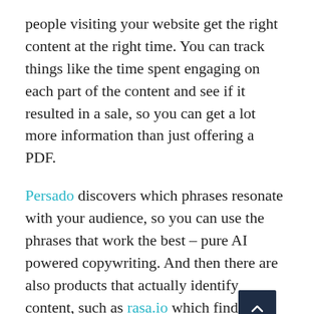people visiting your website get the right content at the right time. You can track things like the time spent engaging on each part of the content and see if it resulted in a sale, so you can get a lot more information than just offering a PDF.
Persado discovers which phrases resonate with your audience, so you can use the phrases that work the best – pure AI powered copywriting. And then there are also products that actually identify content, such as rasa.io which finds related content for your newsletters.